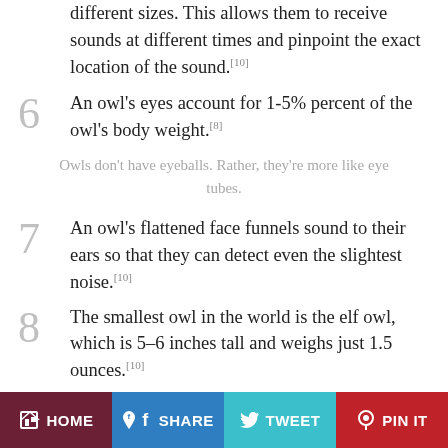(partial) different sizes. This allows them to receive sounds at different times and pinpoint the exact location of the sound.[10]
6 An owl's eyes account for 1-5% percent of the owl's body weight.[8]
Owls don't have eyeballs. Rather, they're more like eye tubes.
7 An owl's flattened face funnels sound to their ears so that they can detect even the slightest noise.[10]
8 The smallest owl in the world is the elf owl, which is 5–6 inches tall and weighs just 1.5 ounces.[10]
HOME  SHARE  TWEET  PIN IT